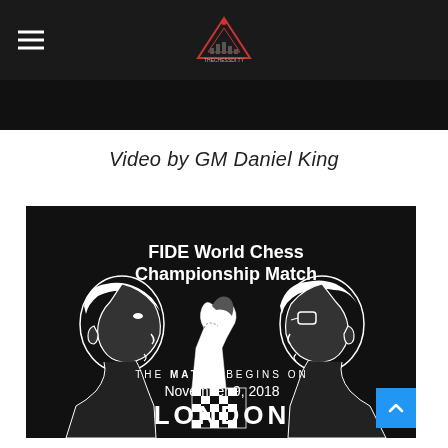TheChessCity logo and hamburger menu
Video by GM Daniel King
[Figure (illustration): FIDE World Chess Championship Match promotional poster with illustrated portraits of two chess players facing each other, a chess knight logo in the center, and text reading: FIDE World Chess Championship Match / THE MATCH BEGINS ON / November 9, 2018 / LONDON]